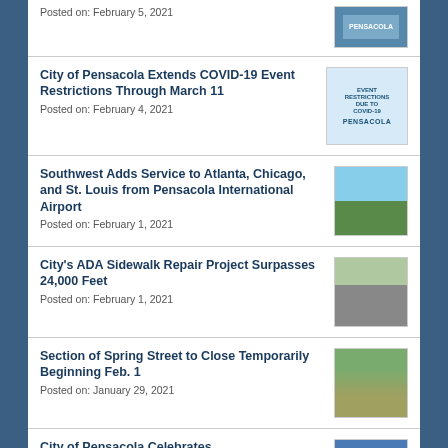Posted on: February 5, 2021
City of Pensacola Extends COVID-19 Event Restrictions Through March 11
Posted on: February 4, 2021
Southwest Adds Service to Atlanta, Chicago, and St. Louis from Pensacola International Airport
Posted on: February 1, 2021
City's ADA Sidewalk Repair Project Surpasses 24,000 Feet
Posted on: February 1, 2021
Section of Spring Street to Close Temporarily Beginning Feb. 1
Posted on: January 29, 2021
City of Pensacola Celebrates